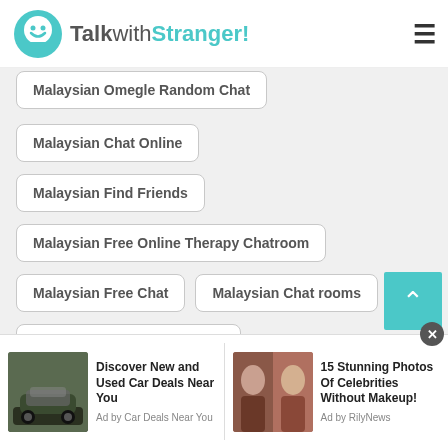TalkwithStranger!
Malaysian Omegle Random Chat
Malaysian Chat Online
Malaysian Find Friends
Malaysian Free Online Therapy Chatroom
Malaysian Free Chat
Malaysian Chat rooms
Malaysian Free Texting Apps
Malaysian Kids Chat Room
Malaysian Love Chat
[Figure (screenshot): Advertisement banner: left ad shows a car with text 'Discover New and Used Car Deals Near You' by Car Deals Near You; right ad shows celebrity photos with text '15 Stunning Photos Of Celebrities Without Makeup!' by RilyNews. Close button (X) on the right.]